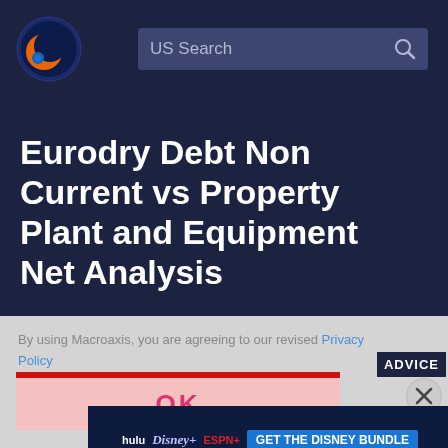[Figure (logo): Macroaxis logo - orange and blue circular globe icon]
US Search
Eurodry Debt Non Current vs Property Plant and Equipment Net Analysis
By using Macroaxis, you are agreeing to our revised Privacy Policy
ADVICE
OK
[Figure (screenshot): Disney Bundle advertisement banner with Hulu, Disney+, ESPN+ logos and GET THE DISNEY BUNDLE call to action button]